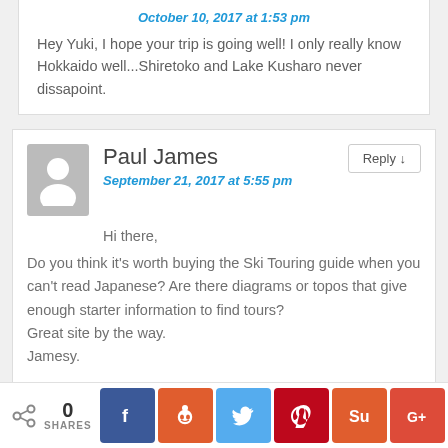October 10, 2017 at 1:53 pm
Hey Yuki, I hope your trip is going well! I only really know Hokkaido well...Shiretoko and Lake Kusharo never dissapoint.
Paul James
September 21, 2017 at 5:55 pm
Hi there,
Do you think it's worth buying the Ski Touring guide when you can't read Japanese? Are there diagrams or topos that give enough starter information to find tours?
Great site by the way.
Jamesy.
Rob Thomson Post Reply ↓
0 SHARES